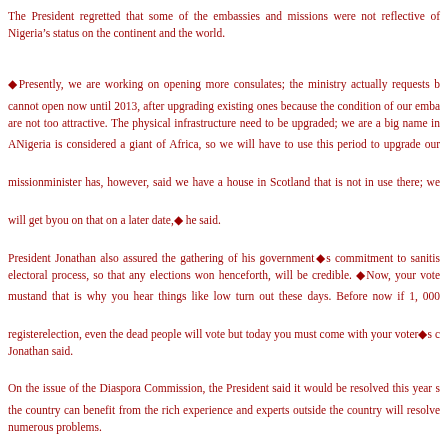The President regretted that some of the embassies and missions were not reflective of Nigeria's status on the continent and the world.
◆Presently, we are working on opening more consulates; the ministry actually requests but we cannot open now until 2013, after upgrading existing ones because the condition of our embassies are not too attractive. The physical infrastructure need to be upgraded; we are a big name in Africa, Nigeria is considered a giant of Africa, so we will have to use this period to upgrade our missions. The minister has, however, said we have a house in Scotland that is not in use there; we will get back to you on that on a later date,◆ he said.
President Jonathan also assured the gathering of his government◆s commitment to sanitise the electoral process, so that any elections won henceforth, will be credible. ◆Now, your vote must count and that is why you hear things like low turn out these days. Before now if 1, 000 registered for election, even the dead people will vote but today you must come with your voter◆s card, Jonathan said.
On the issue of the Diaspora Commission, the President said it would be resolved this year so that the country can benefit from the rich experience and experts outside the country will resolve her numerous problems.
According to him, why the process was slowed down was that government needed to streamline the over 400 parastatals that were either duplicated or gone moribund having lost it◆s relevance.
◆We have over 400 parastatals and a number of them were set up to handle issues that are no longer relevant today. Sometimes we budget for them and we don◆t even have the money to sustain. So we set up a committee to review them, with a view to merging them, but I believe within this...